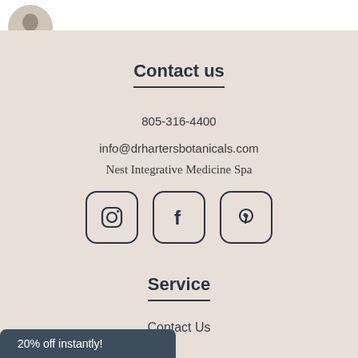[Figure (photo): Partial circular avatar image in top-left corner on white bar]
Contact us
805-316-4400
info@drhartersbotanicals.com
Nest Integrative Medicine Spa
[Figure (other): Three social media icons: Instagram, Facebook, Pinterest in rounded square boxes]
Service
Contact Us
20% off instantly!